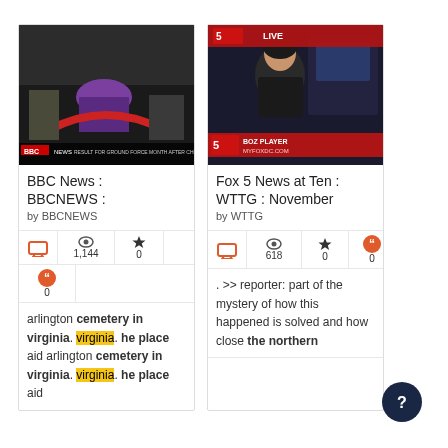[Figure (screenshot): BBC News video thumbnail showing people at a ceremony, person in purple hat visible, BBC News lower-third overlay]
BBC News : BBCNEWS :
by BBCNEWS
1,144  0  0
arlington cemetery in virginia. he place aid arlington cemetery in virginia. he place aid
[Figure (screenshot): Fox 5 News at Ten live broadcast, female anchor in dark jacket, Fox 5 logo and BOZ PLAYER lower third]
Fox 5 News at Ten : WTTG : November
by WTTG
618  0  0
. >> reporter: part of the mystery of how this happened is solved and how close the northern